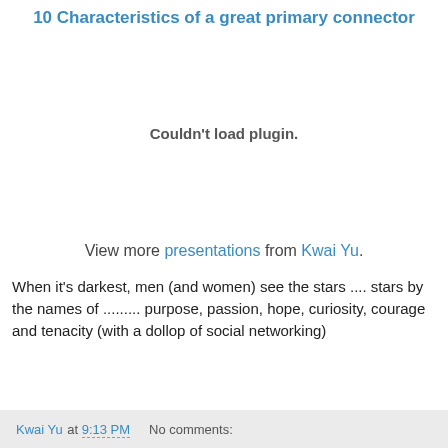10 Characteristics of a great primary connector
[Figure (other): Embedded plugin area showing 'Couldn't load plugin.' message]
View more presentations from Kwai Yu.
When it's darkest, men (and women) see the stars .... stars by the names of ......... purpose, passion, hope, curiosity, courage and tenacity (with a dollop of social networking)
Kwai Yu at 9:13 PM    No comments: